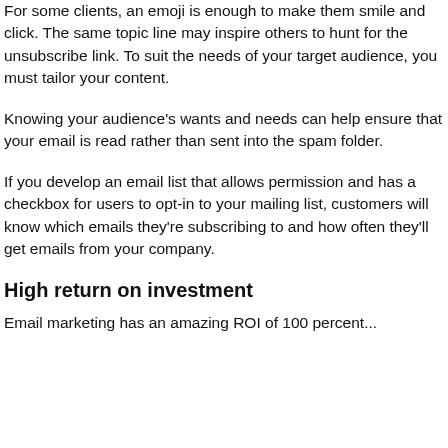For some clients, an emoji is enough to make them smile and click. The same topic line may inspire others to hunt for the unsubscribe link. To suit the needs of your target audience, you must tailor your content.
Knowing your audience's wants and needs can help ensure that your email is read rather than sent into the spam folder.
If you develop an email list that allows permission and has a checkbox for users to opt-in to your mailing list, customers will know which emails they're subscribing to and how often they'll get emails from your company.
High return on investment
Email marketing has an amazing ROI of 100 percent...